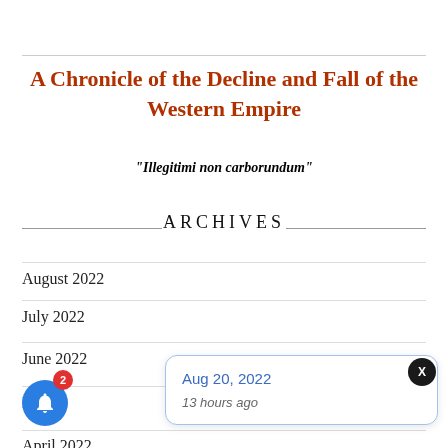A Chronicle of the Decline and Fall of the Western Empire
"Illegitimi non carborundum"
ARCHIVES
August 2022
July 2022
June 2022
April 2022
Aug 20, 2022
13 hours ago